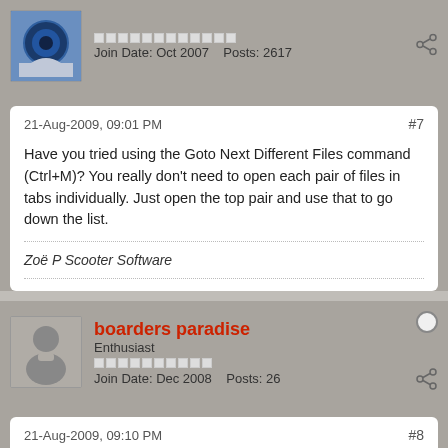[Figure (other): User avatar with blue background and circular logo, pip bar below username]
Join Date: Oct 2007   Posts: 2617
21-Aug-2009, 09:01 PM   #7
Have you tried using the Goto Next Different Files command (Ctrl+M)? You really don't need to open each pair of files in tabs individually. Just open the top pair and use that to go down the list.
Zoë P Scooter Software
[Figure (other): Generic grey silhouette avatar for boarders paradise user]
boarders paradise
Enthusiast
Join Date: Dec 2008   Posts: 26
21-Aug-2009, 09:10 PM   #8
Perfect !!! I'm so glad to see this!
With this approach, I agree that opening multiple tabs is entirely useless, as this solution is much better!